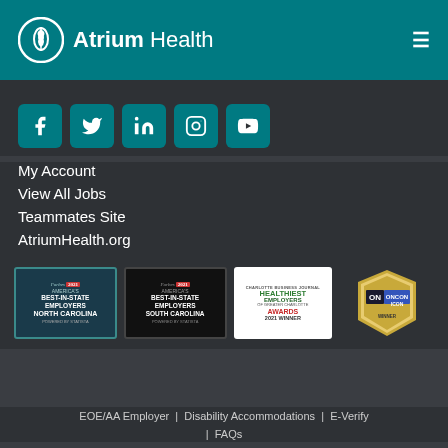Atrium Health
[Figure (logo): Atrium Health logo with leaf emblem and navigation hamburger menu on teal background]
[Figure (infographic): Five social media icon buttons: Facebook, Twitter, LinkedIn, Instagram, YouTube on teal rounded square buttons]
My Account
View All Jobs
Teammates Site
AtriumHealth.org
[Figure (infographic): Four award badges: Forbes 2021 America's Best-In-State Employers North Carolina, Forbes 2021 America's Best-In-State Employers South Carolina, Charlotte Business Journal Healthiest Employers of Greater Charlotte Awards 2021 Winner, OnCon Icon award badge]
EOE/AA Employer | Disability Accommodations | E-Verify | FAQs